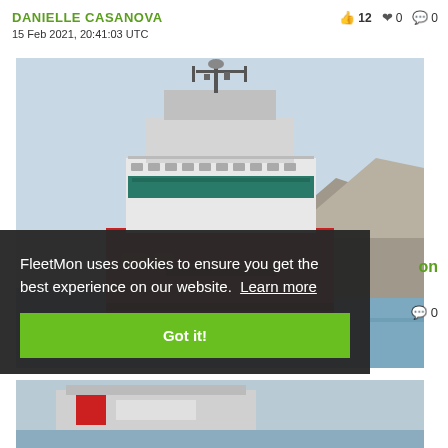DANIELLE CASANOVA
15 Feb 2021, 20:41:03 UTC   👍 12  ❤ 0  💬 0
[Figure (photo): A large red and white cruise ferry ship photographed from the front, with rocky cliffs visible in the background and a pale blue sky. The ship has multiple decks with teal/green windows and a prominent red hull.]
FleetMon uses cookies to ensure you get the best experience on our website. Learn more
Got it!
[Figure (photo): Bottom portion of another ship photo, partially visible.]